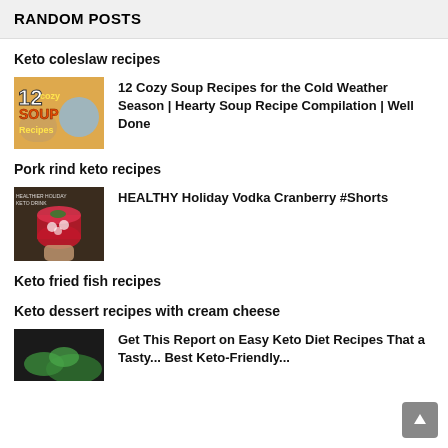RANDOM POSTS
Keto coleslaw recipes
[Figure (photo): Thumbnail image for 12 Cozy Soup Recipes video showing text '12 cozy SOUP Recipes' with bowls of soup]
12 Cozy Soup Recipes for the Cold Weather Season | Hearty Soup Recipe Compilation | Well Done
Pork rind keto recipes
[Figure (photo): Thumbnail image showing a drink glass with red cranberry cocktail and mint garnish]
HEALTHY Holiday Vodka Cranberry #Shorts
Keto fried fish recipes
Keto dessert recipes with cream cheese
[Figure (photo): Partial thumbnail image showing green vegetables/keto food on dark background]
Get This Report on Easy Keto Diet Recipes That a Tasty... Best Keto-Friendly...